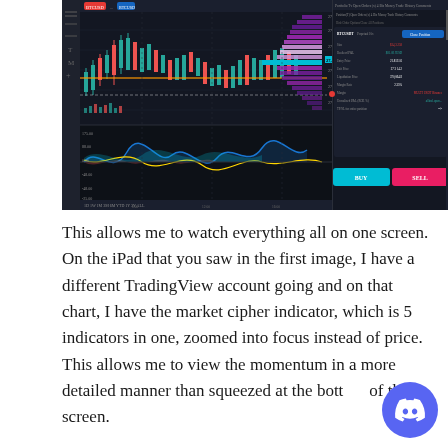[Figure (screenshot): TradingView chart screenshot showing cryptocurrency price chart with indicators, volume profile, and an open position panel on the right side with buy/sell buttons]
This allows me to watch everything all on one screen. On the iPad that you saw in the first image, I have a different TradingView account going and on that chart, I have the market cipher indicator, which is 5 indicators in one, zoomed into focus instead of price. This allows me to view the momentum in a more detailed manner than squeezed at the bottom of the screen.